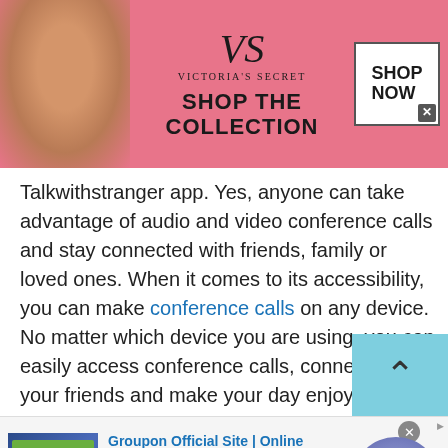[Figure (other): Victoria's Secret advertisement banner: pink background with model on left, VS logo, 'SHOP THE COLLECTION' text, and 'SHOP NOW' button]
Talkwithstranger app. Yes, anyone can take advantage of audio and video conference calls and stay connected with friends, family or loved ones. When it comes to its accessibility, you can make conference calls on any device. No matter which device you are using, you can easily access conference calls, connect to your friends and make your day enjoyable.

Furthermore, the process of making a conference
[Figure (other): Groupon Official Site advertisement: 'Groupon Official Site | Online Shopping Deals - Discover & Save with Over 300k of the Best Deals - www.groupon.com' with Groupon screenshot thumbnail and circular arrow button]